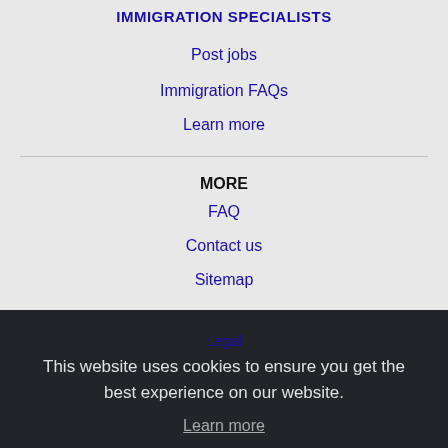IMMIGRATION SPECIALISTS
Post jobs
Immigration FAQs
Learn more
MORE
FAQ
Contact us
Sitemap
Legal
This website uses cookies to ensure you get the best experience on our website.
Learn more
NEARBY CITIES
Victoria, TX Jobs
Got it!